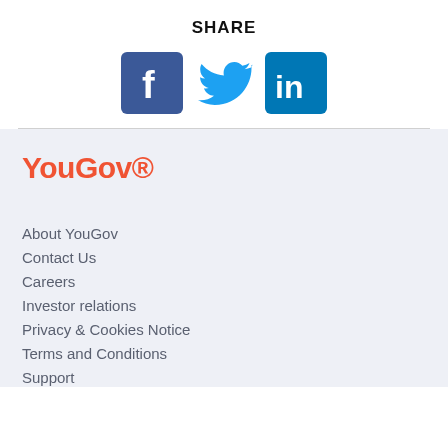SHARE
[Figure (illustration): Social media share icons: Facebook (dark blue square with white F), Twitter (blue bird), LinkedIn (dark blue square with white 'in')]
[Figure (logo): YouGov logo in orange-red color]
About YouGov
Contact Us
Careers
Investor relations
Privacy & Cookies Notice
Terms and Conditions
Support